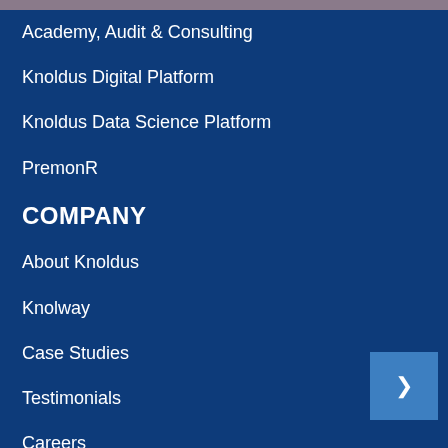Academy, Audit & Consulting
Knoldus Digital Platform
Knoldus Data Science Platform
PremonR
COMPANY
About Knoldus
Knolway
Case Studies
Testimonials
Careers
Tech Expertise
Newsroom